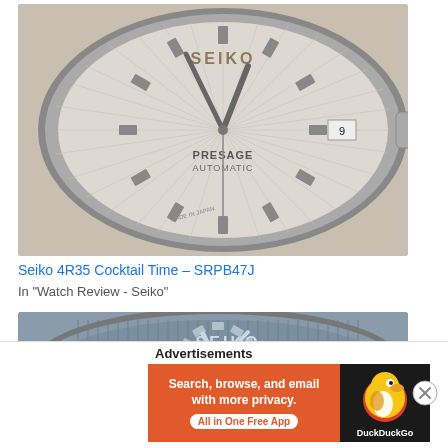[Figure (photo): Close-up photo of a Seiko Presage Automatic watch face on a wrist. White/cream sunburst dial with SEIKO branding at top, PRESAGE AUTOMATIC text, silver hands, date window at 3 o'clock showing 9, crown visible on right. Silver case. Text on dial reads MADE IN JAPAN.]
Seiko 4R35 Cocktail Time – SRPB47J
In "Watch Review - Seiko"
[Figure (photo): Close-up photo of a Seiko watch with blue/grey vertically striped dial. SEIKO branding visible, silver hands, date window showing 22, crown visible on right side.]
Advertisements
[Figure (infographic): DuckDuckGo advertisement banner. Orange section on left with white text: Search, browse, and email with more privacy. All in One Free App. White pill-shaped button. Dark right section with DuckDuckGo duck logo.]